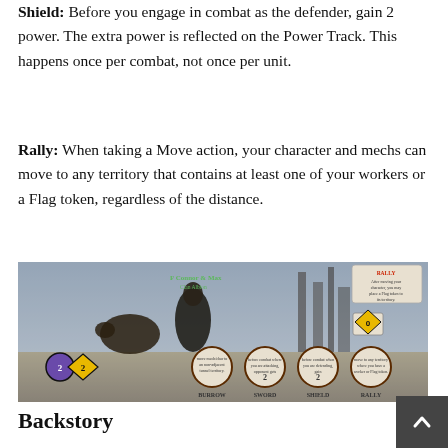Shield: Before you engage in combat as the defender, gain 2 power. The extra power is reflected on the Power Track. This happens once per combat, not once per unit.
Rally: When taking a Move action, your character and mechs can move to any territory that contains at least one of your workers or a Flag token, regardless of the distance.
[Figure (photo): Game card image showing Connor & Max character card with BURROW, SWORD, SHIELD, and RALLY ability icons at the bottom, set against a wintery apocalyptic background.]
Backstory